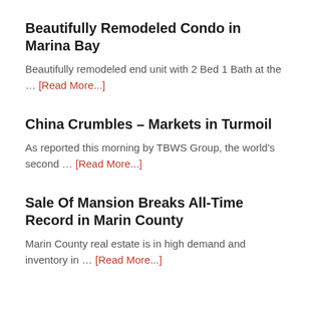Beautifully Remodeled Condo in Marina Bay
Beautifully remodeled end unit with 2 Bed 1 Bath at the … [Read More...]
China Crumbles – Markets in Turmoil
As reported this morning by TBWS Group, the world's second … [Read More...]
Sale Of Mansion Breaks All-Time Record in Marin County
Marin County real estate is in high demand and inventory in … [Read More...]